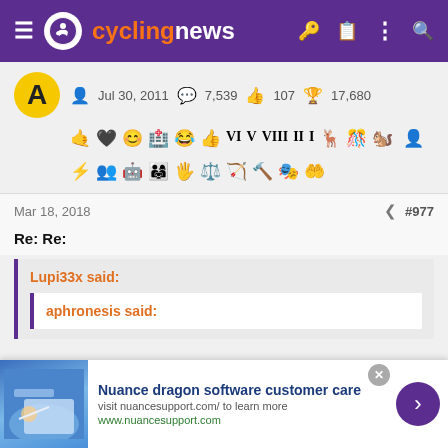cyclingnews
Jul 30, 2011   7,539   107   17,680
[Figure (infographic): Row of achievement/badge icons]
Mar 18, 2018  #977
Re: Re:
Lupi33x said:
aphronesis said:
Nuance dragon software customer care
visit nuancesupport.com/ to learn more
www.nuancesupport.com